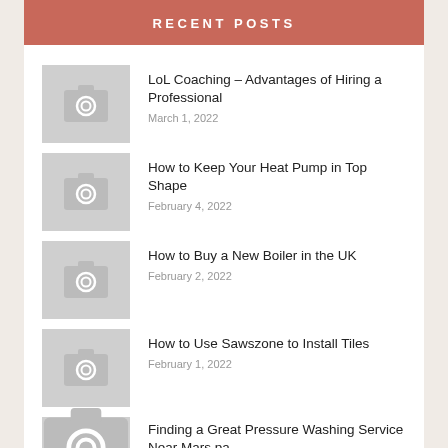RECENT POSTS
LoL Coaching – Advantages of Hiring a Professional
March 1, 2022
How to Keep Your Heat Pump in Top Shape
February 4, 2022
How to Buy a New Boiler in the UK
February 2, 2022
How to Use Sawszone to Install Tiles
February 1, 2022
Finding a Great Pressure Washing Service Near Mars pa